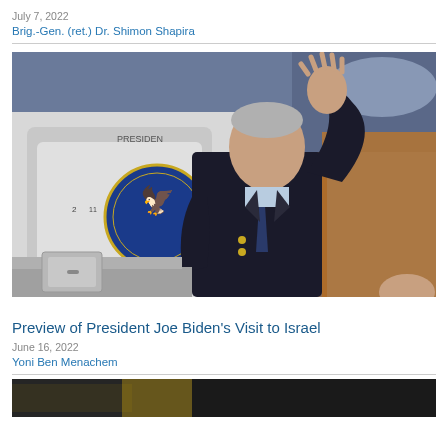July 7, 2022
Brig.-Gen. (ret.) Dr. Shimon Shapira
[Figure (photo): A man in a dark suit waving from the steps of an aircraft with the Vice President of the United States seal visible on the plane door.]
Preview of President Joe Biden's Visit to Israel
June 16, 2022
Yoni Ben Menachem
[Figure (photo): Bottom partial photo, dark toned image.]